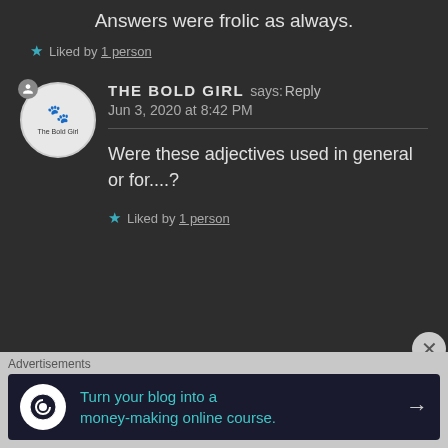Answers were frolic as always.
★ Liked by 1 person
THE BOLD GIRL says: Reply
Jun 3, 2020 at 8:42 PM
Were these adjectives used in general or for....?
★ Liked by 1 person
Advertisements
Turn your blog into a money-making online course.